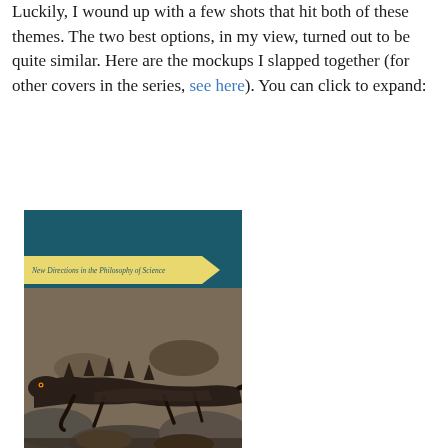Luckily, I wound up with a few shots that hit both of these themes. The two best options, in my view, turned out to be quite similar. Here are the mockups I slapped together (for other covers in the series, see here). You can click to expand:
[Figure (illustration): Book cover mockup for 'Are Species Real? An Essay on the Metaphysics of Species (or the Lack Thereof)' by Matthew H. Slater. Published by Palgrave Macmillan in the New Directions in the Philosophy of Science series. Dark teal cover with a yellow arrow banner at the top, a photo of marine iguanas on rocks in the middle, and white/light text at the bottom.]